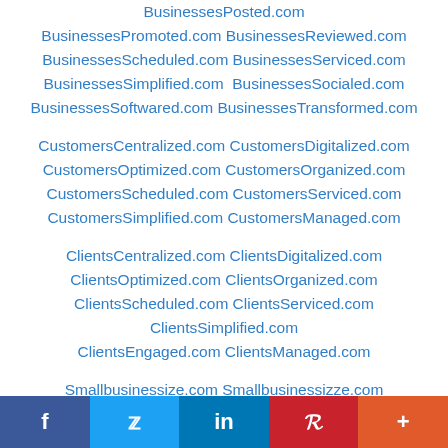BusinessesPosted.com (partial top)
BusinessesPromoted.com BusinessesReviewed.com
BusinessesScheduled.com BusinessesServiced.com
BusinessesSimplified.com BusinessesSocialed.com
BusinessesSoftwared.com BusinessesTransformed.com
CustomersCentralized.com CustomersDigitalized.com
CustomersOptimized.com CustomersOrganized.com
CustomersScheduled.com CustomersServiced.com
CustomersSimplified.com CustomersManaged.com
ClientsCentralized.com ClientsDigitalized.com
ClientsOptimized.com ClientsOrganized.com
ClientsScheduled.com ClientsServiced.com
ClientsSimplified.com
ClientsEngaged.com ClientsManaged.com
Smallbusinessize.com Smallbusinessizze.com
BusinessApps101.com BusinessSoftware101.com